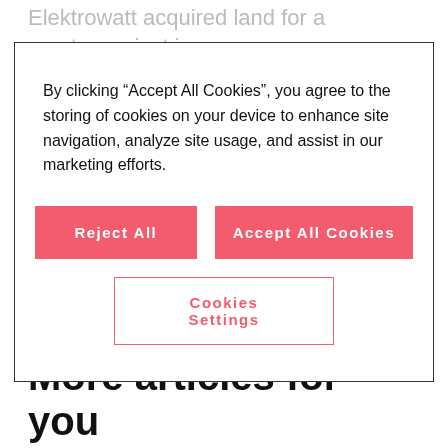Elektrowatt acquired land for a reactor project in
By clicking “Accept All Cookies”, you agree to the storing of cookies on your device to enhance site navigation, analyze site usage, and assist in our marketing efforts.
Reject All
Accept All Cookies
Cookies Settings
Switzerland generated from nuclear energy.
More articles for you